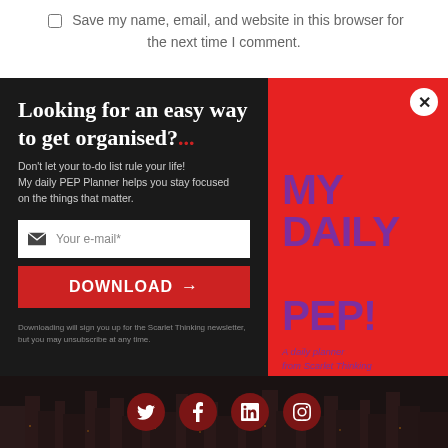Save my name, email, and website in this browser for the next time I comment.
[Figure (screenshot): Newsletter signup popup with dark left panel and red right panel showing 'MY DAILY PEP!' book cover]
[Figure (infographic): Social media icons (Twitter, Facebook, LinkedIn, Instagram) on dark city background]